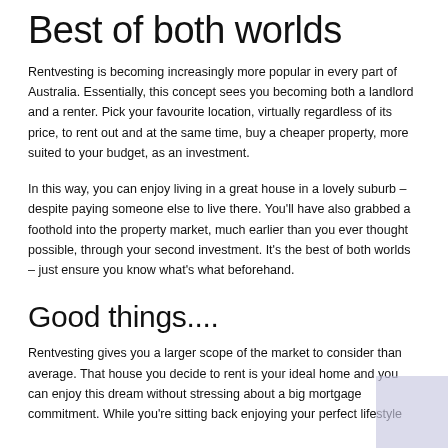Best of both worlds
Rentvesting is becoming increasingly more popular in every part of Australia. Essentially, this concept sees you becoming both a landlord and a renter. Pick your favourite location, virtually regardless of its price, to rent out and at the same time, buy a cheaper property, more suited to your budget, as an investment.
In this way, you can enjoy living in a great house in a lovely suburb – despite paying someone else to live there. You'll have also grabbed a foothold into the property market, much earlier than you ever thought possible, through your second investment. It's the best of both worlds – just ensure you know what's what beforehand.
Good things....
Rentvesting gives you a larger scope of the market to consider than average. That house you decide to rent is your ideal home and you can enjoy this dream without stressing about a big mortgage commitment. While you're sitting back enjoying your perfect lifestyle